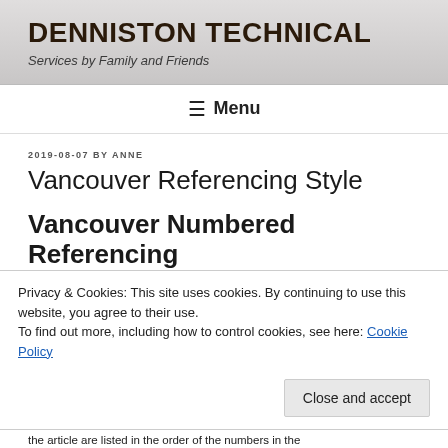DENNISTON TECHNICAL
Services by Family and Friends
☰ Menu
2019-08-07 BY ANNE
Vancouver Referencing Style
Vancouver Numbered Referencing
Privacy & Cookies: This site uses cookies. By continuing to use this website, you agree to their use.
To find out more, including how to control cookies, see here: Cookie Policy
Close and accept
the article are listed in the order of the numbers in the